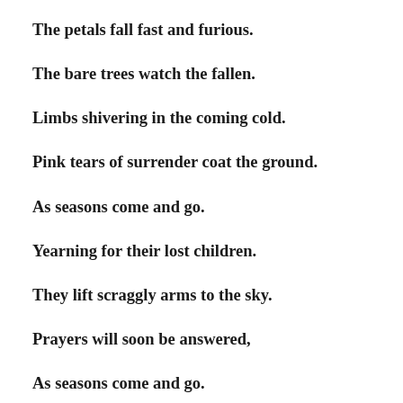The petals fall fast and furious.
The bare trees watch the fallen.
Limbs shivering in the coming cold.
Pink tears of surrender coat the ground.
As seasons come and go.
Yearning for their lost children.
They lift scraggly arms to the sky.
Prayers will soon be answered,
As seasons come and go.